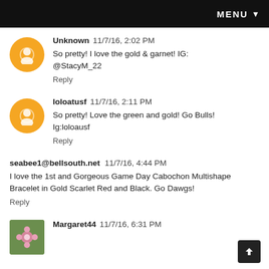MENU
Unknown  11/7/16, 2:02 PM
So pretty! I love the gold & garnet! IG: @StacyM_22
Reply
loloatusf  11/7/16, 2:11 PM
So pretty! Love the green and gold! Go Bulls! Ig:loloausf
Reply
seabee1@bellsouth.net  11/7/16, 4:44 PM
I love the 1st and Gorgeous Game Day Cabochon Multishape Bracelet in Gold Scarlet Red and Black. Go Dawgs!
Reply
Margaret44  11/7/16, 6:31 PM